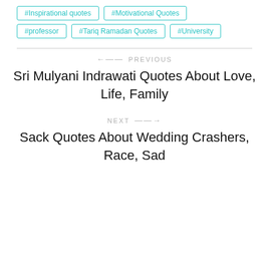#Inspirational quotes
#Motivational Quotes
#professor
#Tariq Ramadan Quotes
#University
← PREVIOUS
Sri Mulyani Indrawati Quotes About Love, Life, Family
NEXT →
Sack Quotes About Wedding Crashers, Race, Sad